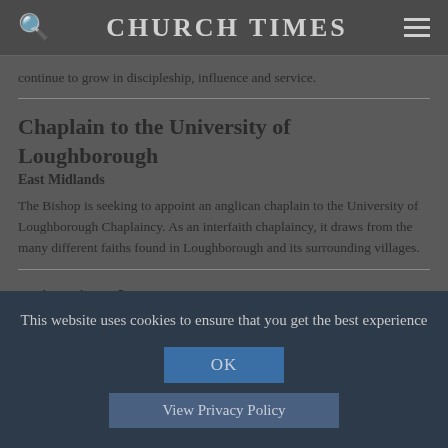CHURCH TIMES
continue to grow in discipleship, influence and service.
Chaplain to the University of Loughborough
East Midlands
The Bishop is seeking to appoint an anglican chaplain to the University of Loughborough Chaplaincy. As an interfaith chaplaincy, it draws from the many different faiths found in Loughborough and its surrounding villages.
Priest in Charge
South West
This website uses cookies to ensure that you get the best experience
OK
View Privacy Policy